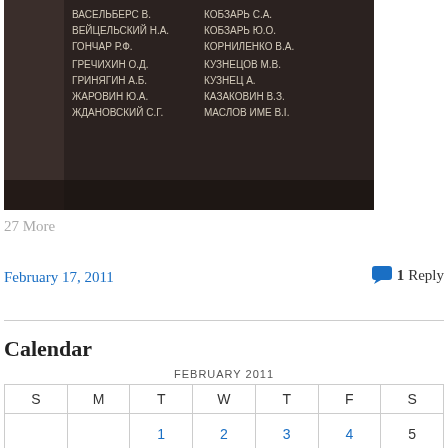[Figure (photo): Dark memorial plaque with Cyrillic text listing names and dates in white lettering on a dark background]
27 More
February 17, 2011
1 Reply
Calendar
| S | M | T | W | T | F | S |
| --- | --- | --- | --- | --- | --- | --- |
|  |  | 1 | 2 | 3 | 4 | 5 |
| 6 | 7 | 8 | 9 | 10 | 11 | 12 |
| 13 | 14 | 15 | 16 | 17 | 18 | 19 |
| 20 | 21 | 22 | 23 | 24 | 25 | 26 |